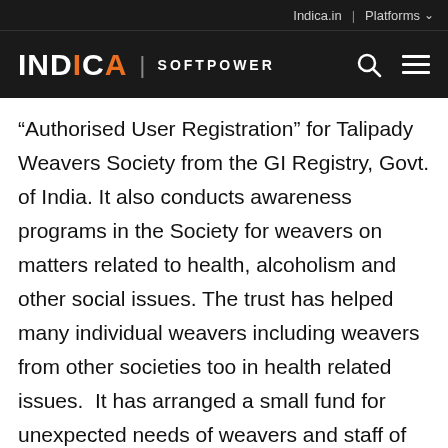Indica.in | Platforms
INDICA | SOFTPOWER
“Authorised User Registration” for Talipady Weavers Society from the GI Registry, Govt. of India. It also conducts awareness programs in the Society for weavers on matters related to health, alcoholism and other social issues. The trust has helped many individual weavers including weavers from other societies too in health related issues. It has arranged a small fund for unexpected needs of weavers and staff of Talipady Weavers Society. It